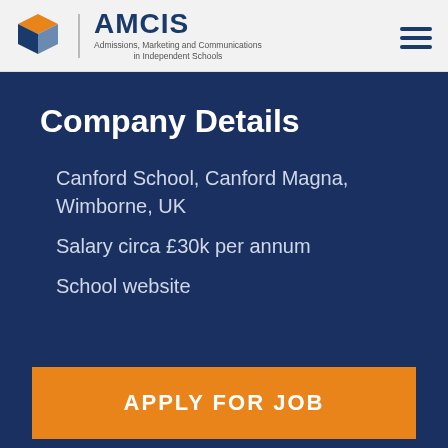AMCIS — Admissions, Marketing and Communications in Independent Schools
Company Details
Canford School, Canford Magna, Wimborne, UK
Salary circa £30k per annum
School website
APPLY FOR JOB